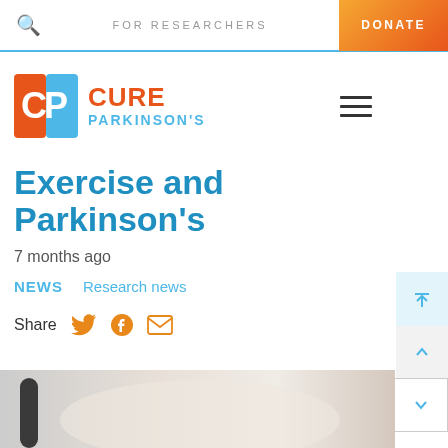FOR RESEARCHERS  DONATE
[Figure (logo): Cure Parkinson's logo — CP icon with orange and blue colors, text CURE PARKINSON'S]
Exercise and Parkinson's
7 months ago
NEWS   Research news
Share
[Figure (photo): Blurred background photo showing what appears to be exercise equipment handles]